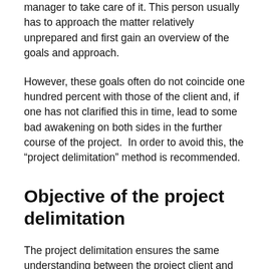this or that and recruits an employee as a project manager to take care of it. This person usually has to approach the matter relatively unprepared and first gain an overview of the goals and approach.
However, these goals often do not coincide one hundred percent with those of the client and, if one has not clarified this in time, lead to some bad awakening on both sides in the further course of the project.  In order to avoid this, the “project delimitation” method is recommended.
Objective of the project delimitation
The project delimitation ensures the same understanding between the project client and the project manager in the project in several dimensions: